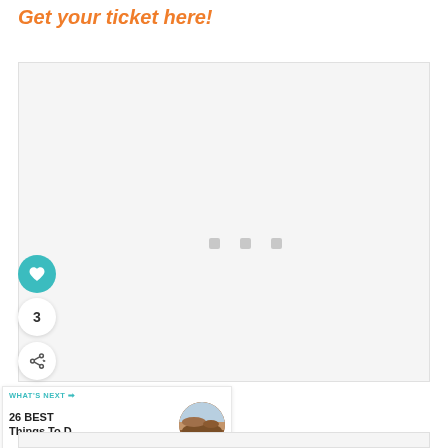Get your ticket here!
[Figure (other): Embedded content placeholder box with three loading dots in the center, light gray background]
3
[Figure (infographic): WHAT'S NEXT → 26 BEST Things To D... promotional card with a circular desert landscape thumbnail image]